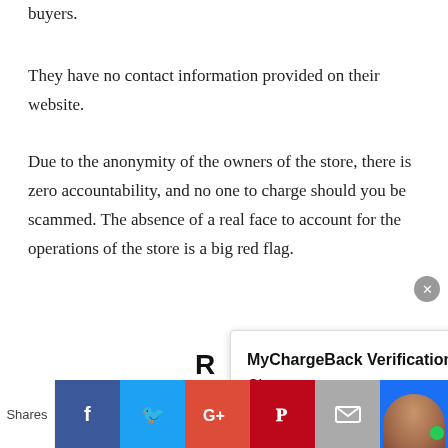buyers.
They have no contact information provided on their website.
Due to the anonymity of the owners of the store, there is zero accountability, and no one to charge should you be scammed. The absence of a real face to account for the operations of the store is a big red flag.
R
The products sam have no customer reviewer. Reliable online stores like Amazon usually carry mixed
[Figure (screenshot): MyChargeBack Verification Chat popup overlay with close button]
[Figure (infographic): Social share bar at bottom with Facebook, Twitter, Google+, Pinterest, Email buttons and shares label]